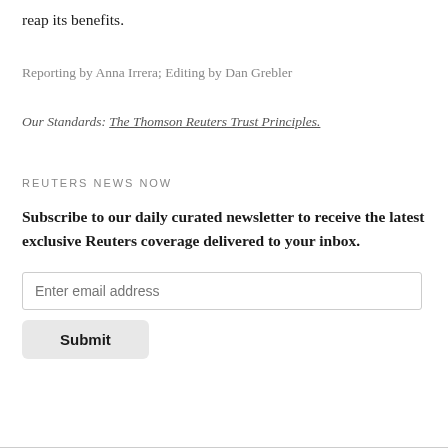reap its benefits.
Reporting by Anna Irrera; Editing by Dan Grebler
Our Standards: The Thomson Reuters Trust Principles.
REUTERS NEWS NOW
Subscribe to our daily curated newsletter to receive the latest exclusive Reuters coverage delivered to your inbox.